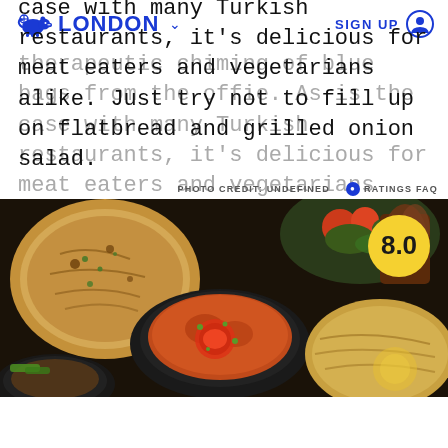LONDON  SIGN UP
therapeutic chiming of blue bags from the offie. As is the case with many Turkish restaurants, it's delicious for meat eaters and vegetarians alike. Just try not to fill up on flatbread and grilled onion salad.
PHOTO CREDIT: UNDEFINED   ● RATINGS FAQ
[Figure (photo): Overhead view of Turkish food spread: flatbread, stews in cast iron pans, salads on a dark background. Rating badge showing 8.0 in yellow circle top right.]